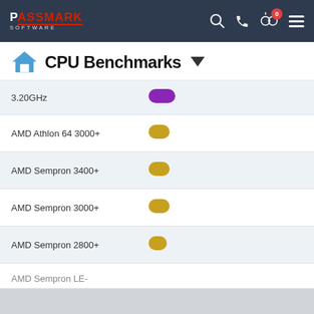PassMark Software - CPU Benchmarks
CPU Benchmarks
| CPU | Bar | Score |
| --- | --- | --- |
| 3.20GHz |  | 285 |
| AMD Athlon 64 3000+ |  | 303 |
| AMD Sempron 3400+ |  | 292 |
| AMD Sempron 3000+ |  | 268 |
| AMD Sempron 2800+ |  | 243 |
| AMD Sempron LE- |  |  |